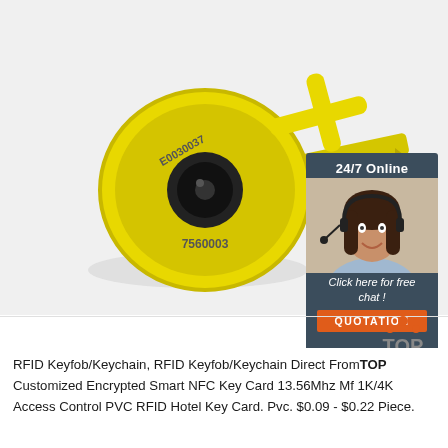[Figure (photo): Yellow RFID livestock ear tag with black center snap, numbered 7560003, shown with applicator pin. White/grey background.]
[Figure (infographic): 24/7 Online chat widget with woman wearing headset, text 'Click here for free chat!' and orange QUOTATION button.]
[Figure (logo): TOP logo with orange dots forming an arch above the word TOP in grey.]
RFID Keyfob/Keychain, RFID Keyfob/Keychain Direct From TOP Customized Encrypted Smart NFC Key Card 13.56Mhz Mf 1K/4K Access Control PVC RFID Hotel Key Card. Pvc. $0.09 - $0.22 Piece.